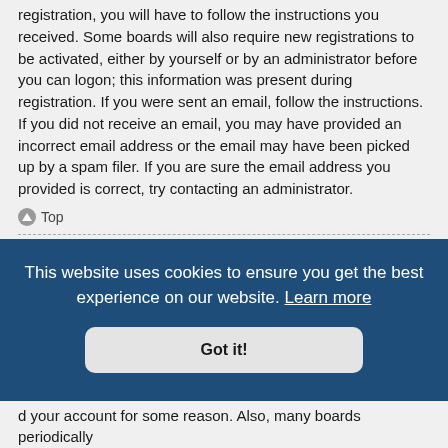registration, you will have to follow the instructions you received. Some boards will also require new registrations to be activated, either by yourself or by an administrator before you can logon; this information was present during registration. If you were sent an email, follow the instructions. If you did not receive an email, you may have provided an incorrect email address or the email may have been picked up by a spam filer. If you are sure the email address you provided is correct, try contacting an administrator.
⬆ Top
Why can't I login?
There are several reasons why this could occur. First, ensure your username and password are correct. If they are, contact a board administrator to make sure you haven't been banned. It is also possible the website owner has a configuration error on
[Figure (screenshot): Cookie consent popup overlay with dark blue background. Text reads: 'This website uses cookies to ensure you get the best experience on our website. Learn more' with a 'Got it!' button below.]
d your account for some reason. Also, many boards periodically